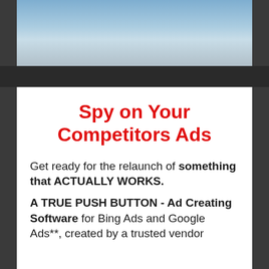[Figure (photo): Partial photo of a person outdoors against a sky background, cropped at top of page]
Spy on Your Competitors Ads
Get ready for the relaunch of something that ACTUALLY WORKS.
A TRUE PUSH BUTTON - Ad Creating Software for Bing Ads and Google Ads**, created by a trusted vendor